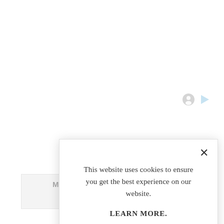[Figure (screenshot): Two small icons: a circular face/avatar icon and a blue play/flag icon in the top-right area of the background page]
M
Cosa join colla
The emp
This website uses cookies to ensure you get the best experience on our website.
LEARN MORE.
ACCEPT COOKIES
×